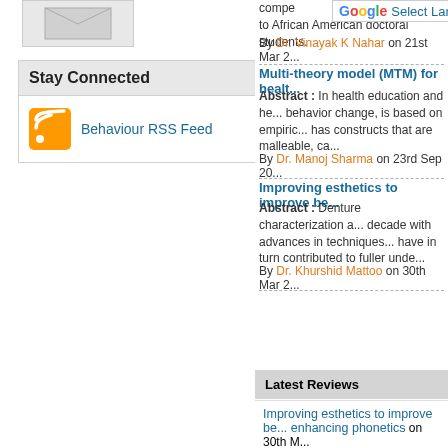[Figure (illustration): Email/envelope icon placeholder image]
Stay Connected
Behaviour RSS Feed
compe... to African American doctoral students.
By Dr. Vinayak K Nahar on 21st Mar 2...
Multi-theory model (MTM) for healt...
Abstract : In health education and he... behavior change, is based on empiric... has constructs that are malleable, ca...
By Dr. Manoj Sharma on 23rd Sep 20...
Improving esthetics to improve be...
Abstract : Denture characterization a... decade with advances in techniques... have in turn contributed to fuller unde...
By Dr. Khurshid Mattoo on 30th Mar 2...
Latest Reviews
Improving esthetics to improve be... enhancing phonetics on 30th M...